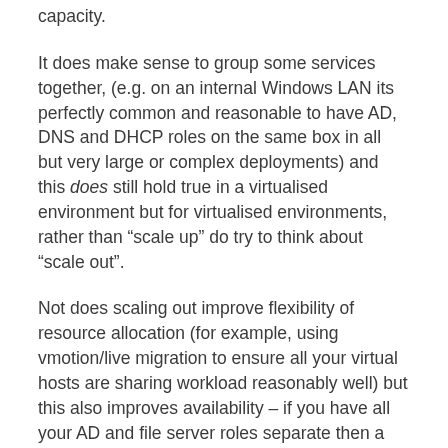capacity.
It does make sense to group some services together, (e.g. on an internal Windows LAN its perfectly common and reasonable to have AD, DNS and DHCP roles on the same box in all but very large or complex deployments) and this does still hold true in a virtualised environment but for virtualised environments, rather than “scale up” do try to think about “scale out”.
Not does scaling out improve flexibility of resource allocation (for example, using vmotion/live migration to ensure all your virtual hosts are sharing workload reasonably well) but this also improves availability – if you have all your AD and file server roles separate then a patch installation or other fault that requires taking one